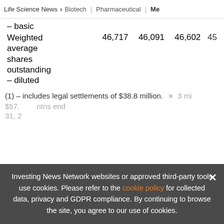Life Science News > Biotech | Pharmaceutical | Me
| – basic |  |  |  |  |
| Weighted average shares outstanding – diluted | 46,717 | 46,091 | 46,602 | 45… |
(1) – includes legal settlements of $38.8 million.
$57.… ntns end 31, 2…